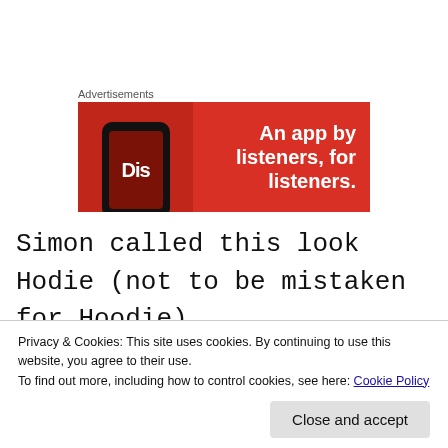Advertisements
[Figure (illustration): Red advertisement banner for a podcast/music app with phone mockup showing 'Dis' logo on screen and white bold text reading 'An app by listeners, for listeners.']
Simon called this look Hodie (not to be mistaken for Hoodie).
(partially visible text behind cookie bar)
Privacy & Cookies: This site uses cookies. By continuing to use this website, you agree to their use.
To find out more, including how to control cookies, see here: Cookie Policy
(partially visible bold text at bottom)